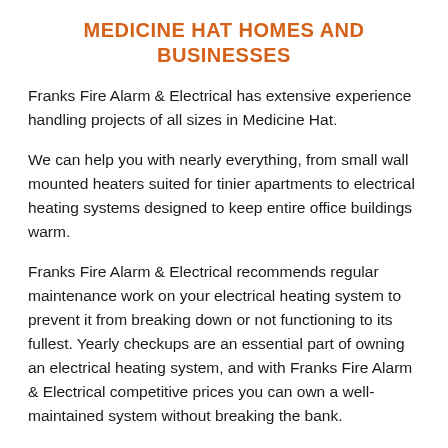MEDICINE HAT HOMES AND BUSINESSES
Franks Fire Alarm & Electrical has extensive experience handling projects of all sizes in Medicine Hat.
We can help you with nearly everything, from small wall mounted heaters suited for tinier apartments to electrical heating systems designed to keep entire office buildings warm.
Franks Fire Alarm & Electrical recommends regular maintenance work on your electrical heating system to prevent it from breaking down or not functioning to its fullest. Yearly checkups are an essential part of owning an electrical heating system, and with Franks Fire Alarm & Electrical competitive prices you can own a well-maintained system without breaking the bank.